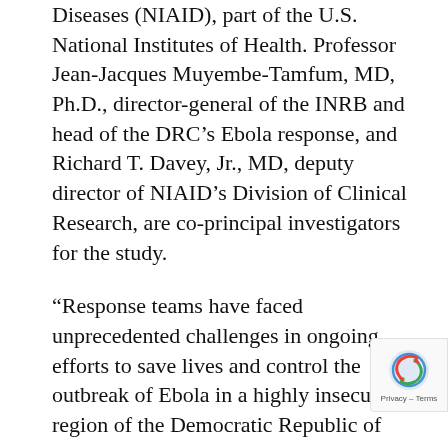Diseases (NIAID), part of the U.S. National Institutes of Health. Professor Jean-Jacques Muyembe-Tamfum, MD, Ph.D., director-general of the INRB and head of the DRC's Ebola response, and Richard T. Davey, Jr., MD, deputy director of NIAID's Division of Clinical Research, are co-principal investigators for the study.
“Response teams have faced unprecedented challenges in ongoing efforts to save lives and control the outbreak of Ebola in a highly insecure region of the Democratic Republic of the Congo,” said NIAID director Anthony S. Fauci, MD. “Although effective treatment alone will not end this outbreak, the PAL study findings identify the first efficacious